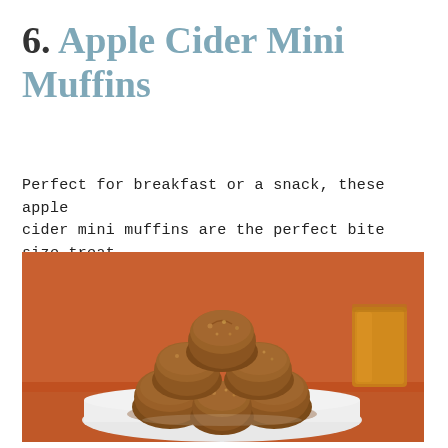6. Apple Cider Mini Muffins
Perfect for breakfast or a snack, these apple cider mini muffins are the perfect bite size treat for fall! My kids go wild over them!
[Figure (photo): Photo of several small round apple cider mini muffins coated in cinnamon sugar, stacked on a white square plate with a glass of apple cider visible in the background against an orange backdrop.]